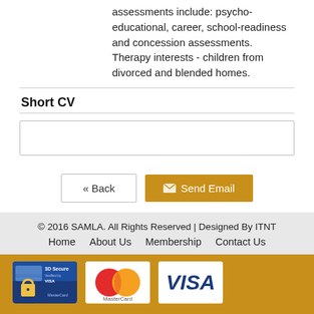assessments include: psycho-educational, career, school-readiness and concession assessments. Therapy interests - children from divorced and blended homes.
Short CV
(empty input box)
« Back  ✉ Send Email
© 2016 SAMLA. All Rights Reserved | Designed By ITNT
Home   About Us   Membership   Contact Us
[Figure (other): Payment method logos: 3D Secure, MasterCard, VISA, Instant EFT (SnapScan)]